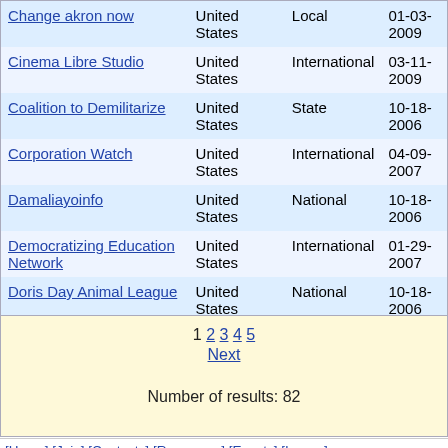| Name | Country | Scope | Date |
| --- | --- | --- | --- |
| Change akron now | United States | Local | 01-03-2009 |
| Cinema Libre Studio | United States | International | 03-11-2009 |
| Coalition to Demilitarize | United States | State | 10-18-2006 |
| Corporation Watch | United States | International | 04-09-2007 |
| Damaliayoinfo | United States | National | 10-18-2006 |
| Democratizing Education Network | United States | International | 01-29-2007 |
| Doris Day Animal League | United States | National | 10-18-2006 |
View All Results
1 2 3 4 5
Next

Number of results: 82
[Home] [Join] [Contacts] [Resources] [Events] [Issues] [Campaigns] [Email Lists] [About]